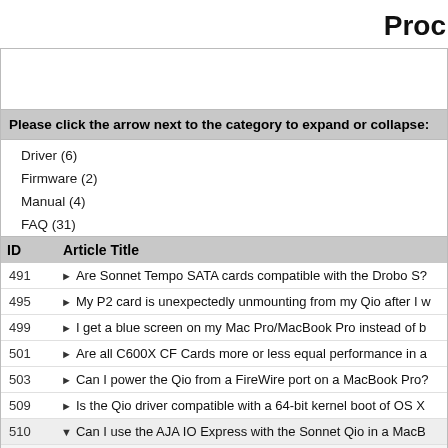Pro...
Please click the arrow next to the category to expand or collapse:
Driver (6)
Firmware (2)
Manual (4)
FAQ (31)
| ID | Article Title |
| --- | --- |
| 491 | ▶ Are Sonnet Tempo SATA cards compatible with the Drobo S?... |
| 495 | ▶ My P2 card is unexpectedly unmounting from my Qio after I w... |
| 499 | ▶ I get a blue screen on my Mac Pro/MacBook Pro instead of b... |
| 501 | ▶ Are all C600X CF Cards more or less equal performance in a... |
| 503 | ▶ Can I power the Qio from a FireWire port on a MacBook Pro?... |
| 509 | ▶ Is the Qio driver compatible with a 64-bit kernel boot of OS X... |
| 510 | ▼ Can I use the AJA IO Express with the Sonnet Qio in a MacB... |
Yes. Just plug the AJA ExpressCard/34 adapter into one of t...